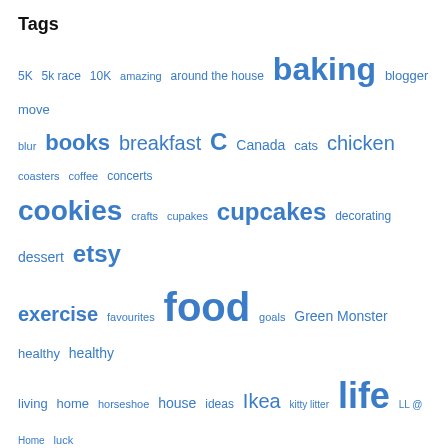Tags
[Figure (infographic): A tag cloud showing various blog tags in different font sizes in blue. Larger tags indicate higher frequency: food, life, baking, running, recipe, supper, Ten on Tuesday, cookies, cupcakes, etsy, exercise, meme, wedding are among the largest. Smaller tags include 5K, 5k race, 10K, amazing, around the house, blogger move, blur, Canada, cats, chicken, coasters, coffee, concerts, crafts, cupakes, decorating, dessert, favourites, goals, Green Monster, healthy, healthy living, home, horseshoe, house, ideas, Ikea, kitty litter, LL @ Home, luck, Matchstick, men, movies, muffins, music, necklace, news, note to self, oats, Olympics, Our Lady Peace, projects, pumpkin, race, random, reading, renovating, reverb10, riding, sewing, slip cover, soup, spring, sunshine, survey, thrifty, weather, xbox, zombies.]